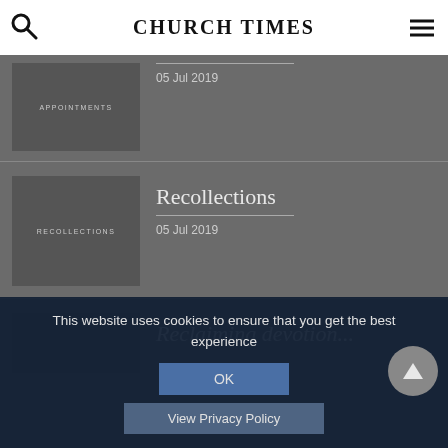CHURCH TIMES
[Figure (screenshot): Appointments article thumbnail - dark grey box with text APPOINTMENTS]
05 Jul 2019
[Figure (screenshot): Recollections article thumbnail - dark grey box with text RECOLLECTIONS]
Recollections
05 Jul 2019
[Figure (screenshot): Third article thumbnail - partially visible dark grey box]
Reclaiming devotion...
This website uses cookies to ensure that you get the best experience
OK
View Privacy Policy